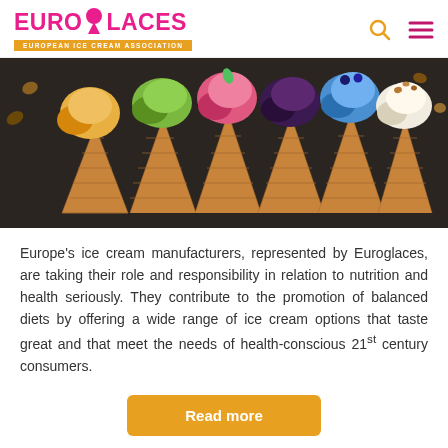EUROGLACES — EUROPEAN ICE CREAM ASSOCIATION
[Figure (photo): Six colorful ice cream scoops in waffle cones laid flat on a dark surface, photographed from above. Flavors include yellow/orange, green, pink, dark berry, blue, and white/vanilla with nuts.]
Europe's ice cream manufacturers, represented by Euroglaces, are taking their role and responsibility in relation to nutrition and health seriously. They contribute to the promotion of balanced diets by offering a wide range of ice cream options that taste great and that meet the needs of health-conscious 21st century consumers.
Read more